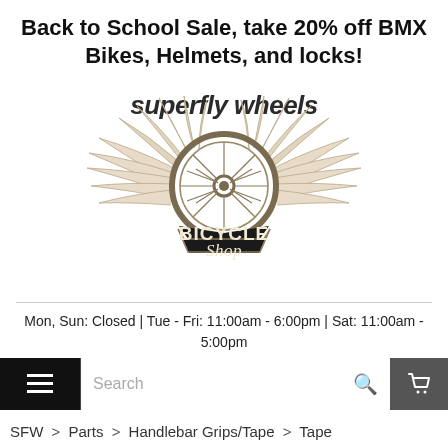Back to School Sale, take 20% off BMX Bikes, Helmets, and locks!
[Figure (logo): Superfly Wheels Bicycle Shop logo — winged bicycle wheel with text 'superfly wheels' above and 'BICYCLE Shop' on a badge below]
Mon, Sun: Closed | Tue - Fri: 11:00am - 6:00pm | Sat: 11:00am - 5:00pm
Search
SFW > Parts > Handlebar Grips/Tape > Tape